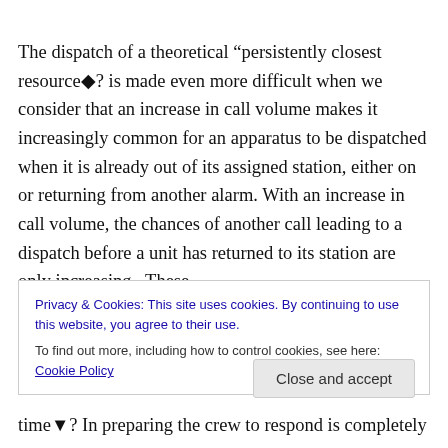The dispatch of a theoretical “persistently closest resource�? is made even more difficult when we consider that an increase in call volume makes it increasingly common for an apparatus to be dispatched when it is already out of its assigned station, either on or returning from another alarm. With an increase in call volume, the chances of another call leading to a dispatch before a unit has returned to its station are only increasing. These
Privacy & Cookies: This site uses cookies. By continuing to use this website, you agree to their use.
To find out more, including how to control cookies, see here: Cookie Policy
time�? In preparing the crew to respond is completely